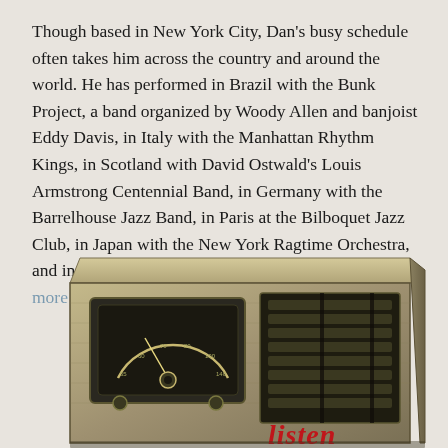Though based in New York City, Dan's busy schedule often takes him across the country and around the world. He has performed in Brazil with the Bunk Project, a band organized by Woody Allen and banjoist Eddy Davis, in Italy with the Manhattan Rhythm Kings, in Scotland with David Ostwald's Louis Armstrong Centennial Band, in Germany with the Barrelhouse Jazz Band, in Paris at the Bilboquet Jazz Club, in Japan with the New York Ragtime Orchestra, and in Los Angeles at the Playboy Mansion…read more
[Figure (photo): Vintage sepia-toned photograph of an old radio with a dial/tuner on the left and horizontal speaker grille slats on the right. The word 'listen' appears in red text at the bottom right corner.]